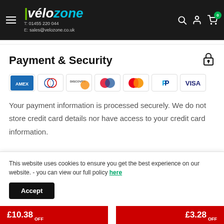Vélozone | T: 01455 220 044 | E: sales@velozone.co.uk
Payment & Security
[Figure (logo): Payment method logos: American Express, Diners Club, Discover, Maestro, Mastercard, PayPal, Visa]
Your payment information is processed securely. We do not store credit card details nor have access to your credit card information.
This website uses cookies to ensure you get the best experience on our website. - you can view our full policy here
Accept
£10.38 OFF  £3.28 OFF